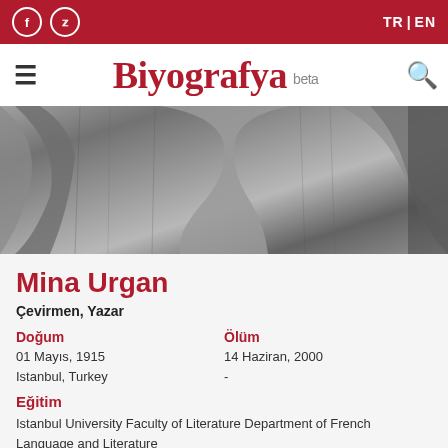f  |  TR | EN
Biyografya beta
[Figure (photo): Black and white close-up photo of a person wearing layered fabric clothing, showing the torso and shoulders area.]
Mina Urgan
Çevirmen, Yazar
Doğum
01 Mayıs, 1915
Istanbul, Turkey
Ölüm
14 Haziran, 2000
-
Eğitim
Istanbul University Faculty of Literature Department of French Language and Literature